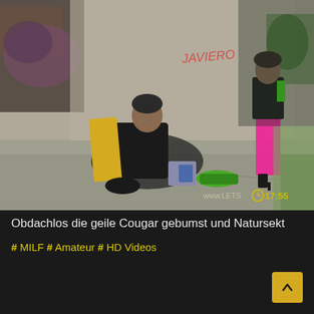[Figure (photo): Street scene under a graffiti-covered concrete underpass. A person sits on the ground against the wall wearing dark clothing with a yellow blanket and green sneakers, smoking. A woman in pink leggings and a black jacket stands in the background. A video timestamp overlay shows '17:55' and 'www.LETS' watermark.]
Obdachlos die geile Cougar gebumst und Natursekt
# MILF # Amateur # HD Videos